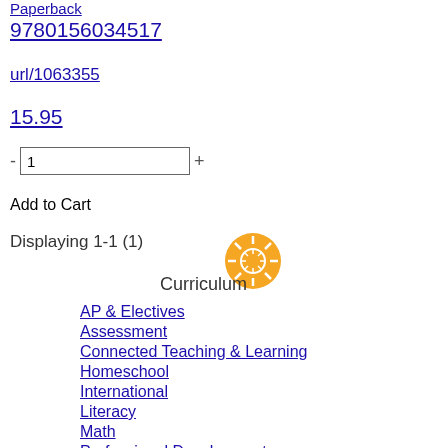Paperback
9780156034517
url/1063355
15.95
- 1 +
Add to Cart
Displaying 1-1 (1)
[Figure (illustration): Orange sun/wheel icon]
Curriculum
AP & Electives
Assessment
Connected Teaching & Learning
Homeschool
International
Literacy
Math
Professional Development
Science